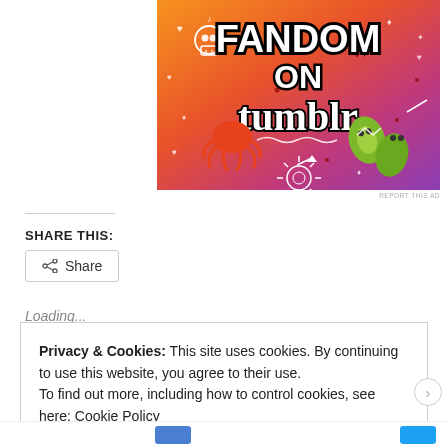[Figure (illustration): Fandom on Tumblr advertisement banner with colorful orange-to-purple gradient background, featuring the text 'FANDOM ON tumblr' in large bold letters, with doodle illustrations including a skull, a red octopus/squid creature, green leaf characters, arrows, hearts, music notes, and various decorative elements]
REPORT THIS AD
SHARE THIS:
Loading...
Privacy & Cookies: This site uses cookies. By continuing to use this website, you agree to their use.
To find out more, including how to control cookies, see here: Cookie Policy